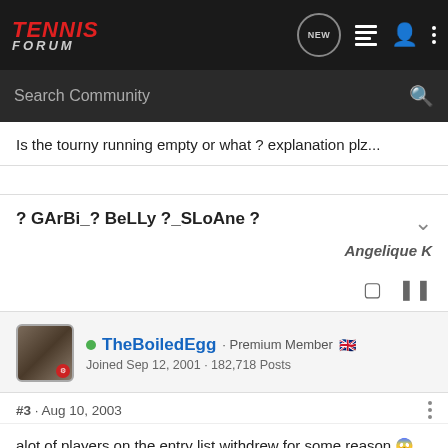Tennis Forum
Is the tourny running empty or what ? explanation plz...
? GArBi_? BeLLy ?_SLoAne ?
Angelique K
TheBoiledEgg · Premium Member 🇬🇧
Joined Sep 12, 2001 · 182,718 Posts
#3 · Aug 10, 2003
alot of players on the entry list withdrew for some reason 😱
most of them would rather play qualies in the Bronx to prepare
for next weeks US qualies...